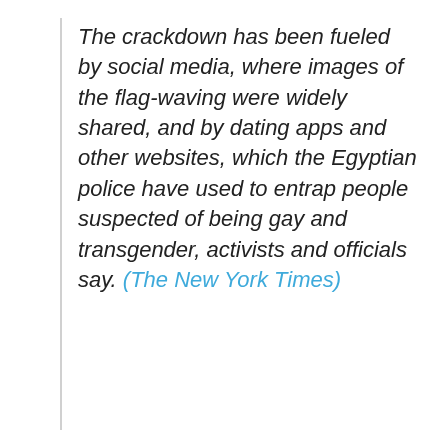The crackdown has been fueled by social media, where images of the flag-waving were widely shared, and by dating apps and other websites, which the Egyptian police have used to entrap people suspected of being gay and transgender, activists and officials say. (The New York Times)